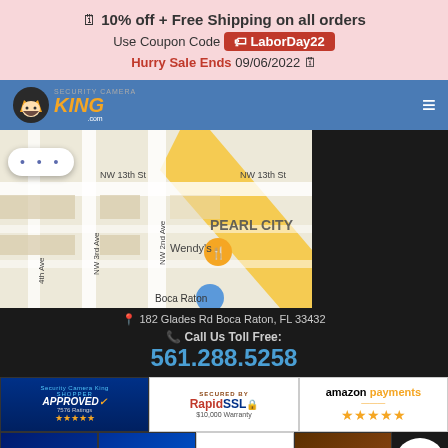🗓 10% off + Free Shipping on all orders Use Coupon Code LaborDay22 Hurry Sale Ends 09/06/2022 🗓
[Figure (logo): Security Camera King logo with crown mascot and yellow KING text on blue navbar]
[Figure (map): Google Maps screenshot showing Pearl City area near Boca Raton, FL with Wendy's marker and NW 2nd Ave, NW 13th St streets visible]
📍 182 Glades Rd Boca Raton, FL 33432
📞 Call Us Toll Free: 561.288.5258
[Figure (logo): Security Camera King Shopper Approved badge with 7576 Ratings and 5 stars]
[Figure (logo): Secured by RapidSSL $10,000 Warranty badge]
[Figure (logo): Amazon Payments badge with 5 gold stars]
[Figure (logo): Powered by PayPal logo]
[Figure (logo): PayPal Verified badge]
[Figure (logo): Authorize.Net Verified badge]
[Figure (logo): UPS shipping logo]